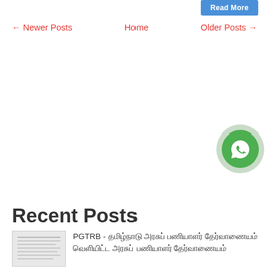Read More
← Newer Posts   Home   Older Posts →
[Figure (logo): WhatsApp floating button icon - green circle with white chat bubble icon]
Recent Posts
[Figure (photo): Thumbnail image of a document page]
PGTRB - தமிழ்நாடு அரசுப் பணியாளர் தேர்வாணையம் வெளியிட்ட அரசுப் பணியாளர் தேர்வாணையம்